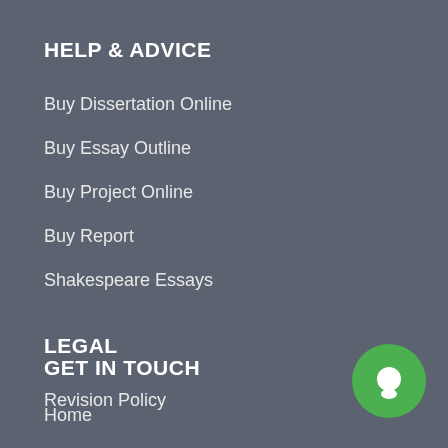HELP & ADVICE
Buy Dissertation Online
Buy Essay Outline
Buy Project Online
Buy Report
Shakespeare Essays
LEGAL
Revision Policy
Refund Policy
Privacy Policy
Terms & Conditions
Sitemap
GET IN TOUCH
Home
[Figure (illustration): Green circular chat/support button icon in the bottom-right corner]